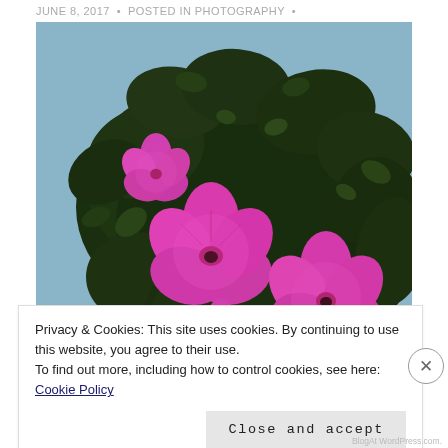JUNE 8, 2017 • Posted in PHOTOGRAPHY •
[Figure (photo): A hanging basket of dark green foliage with bright magenta/pink petunia flowers photographed against a light blue background/wall.]
Privacy & Cookies: This site uses cookies. By continuing to use this website, you agree to their use.
To find out more, including how to control cookies, see here: Cookie Policy
Close and accept